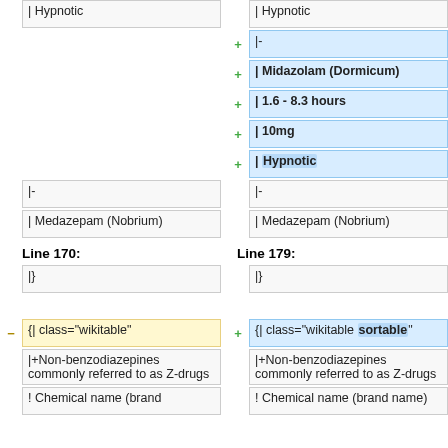| | Hypnotic | | Hypnotic |
|  | |- |
|  | | Midazolam (Dormicum) |
|  | | 1.6 - 8.3 hours |
|  | | 10mg |
|  | | Hypnotic |
| |- | |- |
| | Medazepam (Nobrium) | | Medazepam (Nobrium) |
Line 170:
Line 179:
| |} | |} |
|  |  |
| {| class="wikitable" | {| class="wikitable sortable" |
| |+Non-benzodiazepines commonly referred to as Z-drugs | |+Non-benzodiazepines commonly referred to as Z-drugs |
| ! Chemical name (brand | ! Chemical name (brand name) |